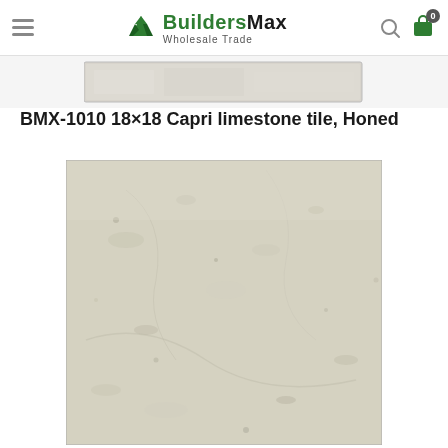BuildersMax Wholesale Trade
[Figure (photo): Small thumbnail strip showing a light gray limestone tile sample]
BMX-1010 18×18 Capri limestone tile, Honed
[Figure (photo): Close-up photo of Capri limestone tile with honed finish, showing natural beige/cream stone surface texture with subtle variations and small pits]